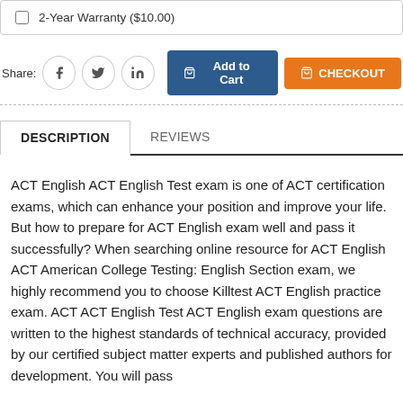2-Year Warranty ($10.00)
Share:
Add to Cart | CHECKOUT
DESCRIPTION
REVIEWS
ACT English ACT English Test exam is one of ACT certification exams, which can enhance your position and improve your life. But how to prepare for ACT English exam well and pass it successfully? When searching online resource for ACT English ACT American College Testing: English Section exam, we highly recommend you to choose Killtest ACT English practice exam. ACT ACT English Test ACT English exam questions are written to the highest standards of technical accuracy, provided by our certified subject matter experts and published authors for development. You will pass